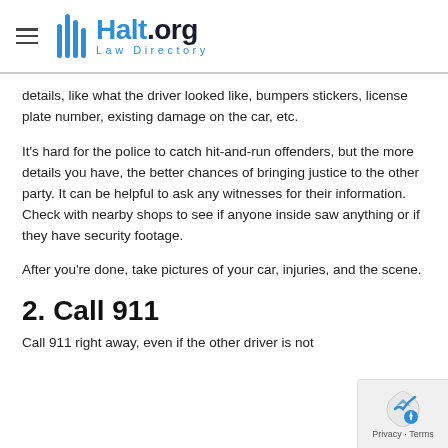Halt.org Law Directory
details, like what the driver looked like, bumpers stickers, license plate number, existing damage on the car, etc.
It's hard for the police to catch hit-and-run offenders, but the more details you have, the better chances of bringing justice to the other party. It can be helpful to ask any witnesses for their information. Check with nearby shops to see if anyone inside saw anything or if they have security footage.
After you're done, take pictures of your car, injuries, and the scene.
2. Call 911
Call 911 right away, even if the other driver is not...